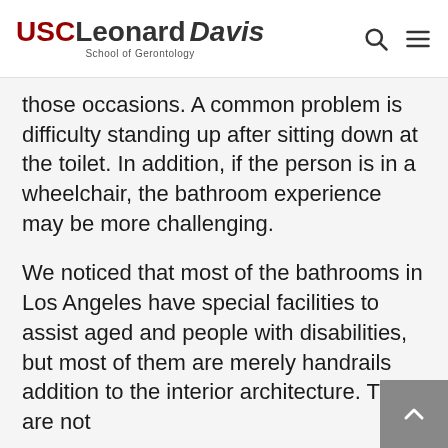USC Leonard Davis School of Gerontology
those occasions. A common problem is difficulty standing up after sitting down at the toilet. In addition, if the person is in a wheelchair, the bathroom experience may be more challenging.
We noticed that most of the bathrooms in Los Angeles have special facilities to assist aged and people with disabilities, but most of them are merely handrails addition to the interior architecture. They are not